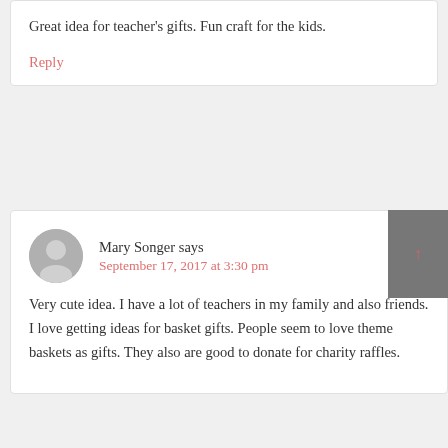Great idea for teacher's gifts. Fun craft for the kids.
Reply
Mary Songer says
September 17, 2017 at 3:30 pm
Very cute idea. I have a lot of teachers in my family and also friends. I love getting ideas for basket gifts. People seem to love theme baskets as gifts. They also are good to donate for charity raffles.